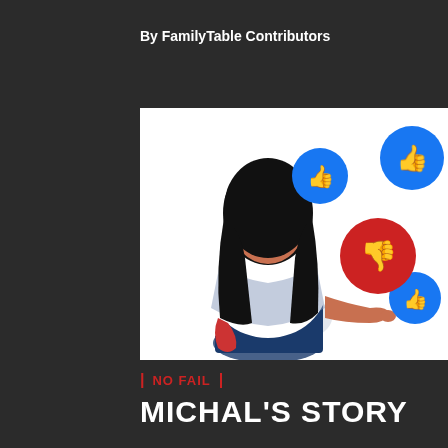By FamilyTable Contributors
[Figure (illustration): Illustration of a woman seen from behind with dark hair, wearing a white top and blue skirt, pressing a red thumbs-down button surrounded by blue thumbs-up icons floating around her]
| NO FAIL |
MICHAL'S STORY